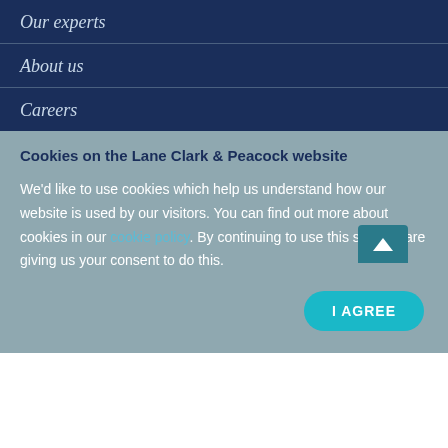Our experts
About us
Careers
Cookies on the Lane Clark & Peacock website
We'd like to use cookies which help us understand how our website is used by our visitors. You can find out more about cookies in our cookie policy. By continuing to use this site you are giving us your consent to do this.